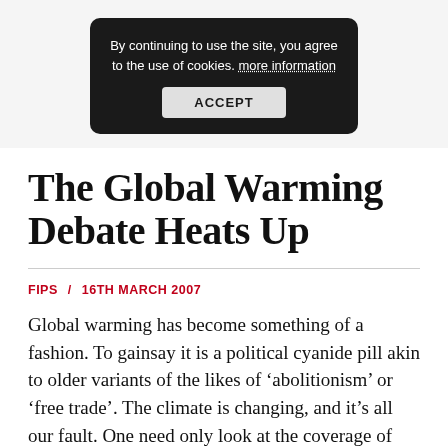By continuing to use the site, you agree to the use of cookies. more information ACCEPT
The Global Warming Debate Heats Up
FIPS / 16TH MARCH 2007
Global warming has become something of a fashion. To gainsay it is a political cyanide pill akin to older variants of the likes of ‘abolitionism’ or ‘free trade’. The climate is changing, and it’s all our fault. One need only look at the coverage of sites like this, Russian...